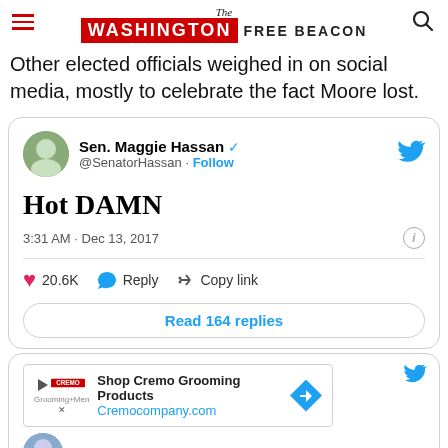The Washington Free Beacon
Other elected officials weighed in on social media, mostly to celebrate the fact Moore lost.
[Figure (screenshot): Embedded tweet from Sen. Maggie Hassan (@SenatorHassan) saying 'Hot DAMN', posted at 3:31 AM · Dec 13, 2017, with 20.6K likes. Includes Reply, Copy link actions and 'Read 164 replies' button.]
[Figure (screenshot): Advertisement for Cremo Grooming Products (Cremocompany.com) overlaid on a partially visible second tweet with text 'No Moore Trump!']